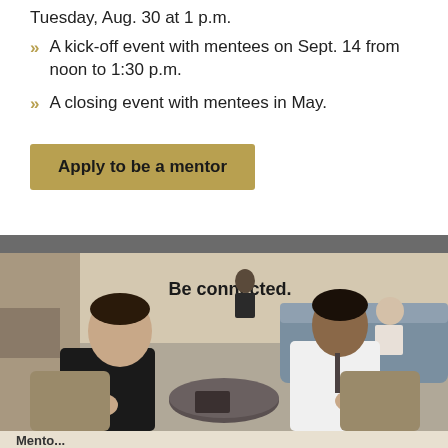Tuesday, Aug. 30 at 1 p.m.
A kick-off event with mentees on Sept. 14 from noon to 1:30 p.m.
A closing event with mentees in May.
Apply to be a mentor
[Figure (photo): Two young men sitting across from each other at a small round table in a lounge area, appearing to have a mentoring conversation. A blue couch is visible in the background. A sign on the wall reads 'Be connected.']
Mento...